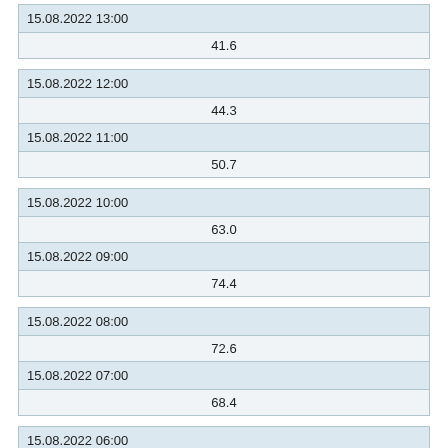| 15.08.2022 13:00 |  |
|  | 41.6 |
| 15.08.2022 12:00 |  |
|  | 44.3 |
| 15.08.2022 11:00 |  |
|  | 50.7 |
| 15.08.2022 10:00 |  |
|  | 63.0 |
| 15.08.2022 09:00 |  |
|  | 74.4 |
| 15.08.2022 08:00 |  |
|  | 72.6 |
| 15.08.2022 07:00 |  |
|  | 68.4 |
| 15.08.2022 06:00 |  |